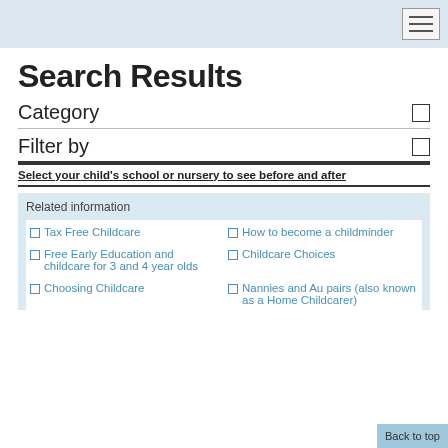Search Results
Category
Filter by
Select your child's school or nursery to see before and after
Related information
Tax Free Childcare
How to become a childminder
Free Early Education and childcare for 3 and 4 year olds
Childcare Choices
Choosing Childcare
Nannies and Au pairs (also known as a Home Childcarer)